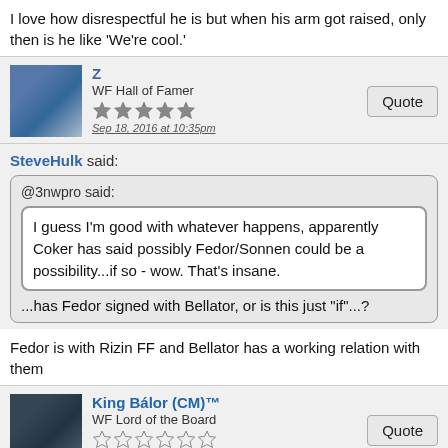I love how disrespectful he is but when his arm got raised, only then is he like 'We're cool.'
Z
WF Hall of Famer
Sep 18, 2016 at 10:35pm
SteveHulk said:
@3nwpro said:
I guess I'm good with whatever happens, apparently Coker has said possibly Fedor/Sonnen could be a possibility...if so - wow. That's insane.
...has Fedor signed with Bellator, or is this just "if"...?
Fedor is with Rizin FF and Bellator has a working relation with them
King Bálor (CM)™
WF Lord of the Board
Sep 19, 2016 at 12:13am
Kollector_Kombat said: